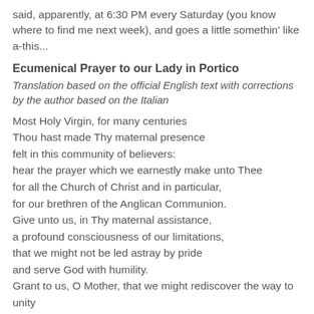said, apparently, at 6:30 PM every Saturday (you know where to find me next week), and goes a little somethin' like a-this...
Ecumenical Prayer to our Lady in Portico
Translation based on the official English text with corrections by the author based on the Italian
Most Holy Virgin, for many centuries
Thou hast made Thy maternal presence
felt in this community of believers:
hear the prayer which we earnestly make unto Thee
for all the Church of Christ and in particular,
for our brethren of the Anglican Communion.
Give unto us, in Thy maternal assistance,
a profound consciousness of our limitations,
that we might not be led astray by pride
and serve God with humility.
Grant to us, O Mother, that we might rediscover the way to unity
in the mystery of the Redemption
which has been won for us by Thy Son Jesus.